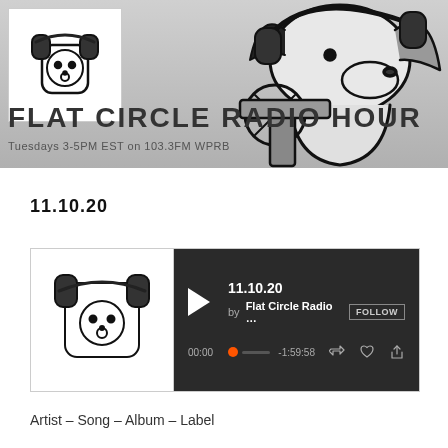[Figure (illustration): Banner image with hand-drawn cartoon dog/character wearing headphones on a gray gradient background, with small logo image in white box top-left]
FLAT CIRCLE RADIO HOUR
Tuesdays 3-5PM EST on 103.3FM WPRB
11.10.20
[Figure (screenshot): Mixcloud-style audio player widget showing episode 11.10.20 by Flat Circle Radio with play button, progress bar showing 00:00 to -1:59:58, and control icons]
Artist – Song – Album – Label